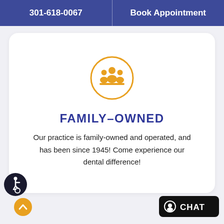301-618-0067   Book Appointment
[Figure (illustration): Orange circle icon containing a group of people (family) silhouette icon]
FAMILY-OWNED
Our practice is family-owned and operated, and has been since 1945! Come experience our dental difference!
[Figure (illustration): Accessibility icon button (white wheelchair figure on dark background)]
[Figure (illustration): Yellow scroll-up arrow button]
[Figure (illustration): Black chat button with chat icon and CHAT text]